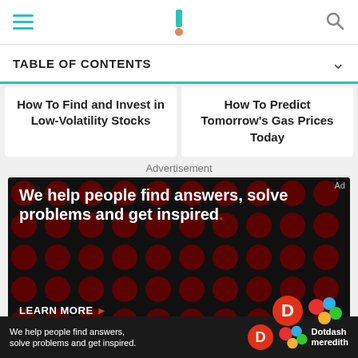Investopedia header with hamburger menu, logo, and search icon
TABLE OF CONTENTS
How To Find and Invest in Low-Volatility Stocks
How To Predict Tomorrow's Gas Prices Today
Advertisement
[Figure (illustration): Dark advertisement banner with red polka dot background pattern. White bold text reads: 'We help people find answers, solve problems and get inspired.' with a red period. Bottom shows 'LEARN MORE' with arrow and brand logos. Bottom sticky bar repeats the tagline with Dotdash Meredith branding.]